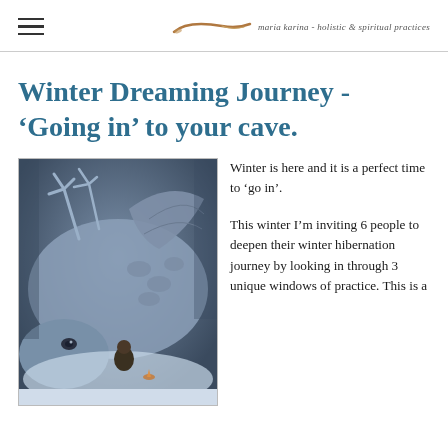maria karina - holistic & spiritual practices
Winter Dreaming Journey - ‘Going in’ to your cave.
[Figure (illustration): Fantasy illustration of a large dragon or mythical creature with antlers in a wintry forest setting, with a small human figure sheltering beneath it.]
Winter is here and it is a perfect time to ‘go in’.
This winter I’m inviting 6 people to deepen their winter hibernation journey by looking in through 3 unique windows of practice. This is a...